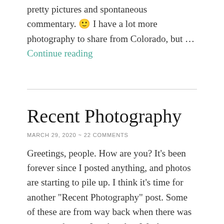pretty pictures and spontaneous commentary. 🙂 I have a lot more photography to share from Colorado, but … Continue reading
Recent Photography
MARCH 29, 2020 ~ 22 COMMENTS
Greetings, people. How are you? It's been forever since I posted anything, and photos are starting to pile up. I think it's time for another "Recent Photography" post. Some of these are from way back when there was snow, and some I took today. We drove through a cool little town called Rosebud on the … Continue reading